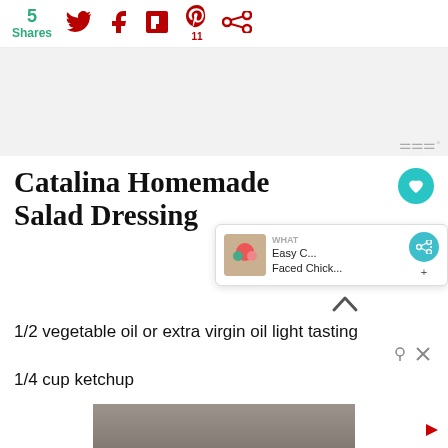5 Shares
[Figure (screenshot): Advertisement area with grey background and Moat ad indicator in top right]
Catalina Homemade Salad Dressing
1/2 vegetable oil or extra virgin oil light tasting
1/4 cup ketchup
[Figure (photo): Partial food photo at bottom of page]